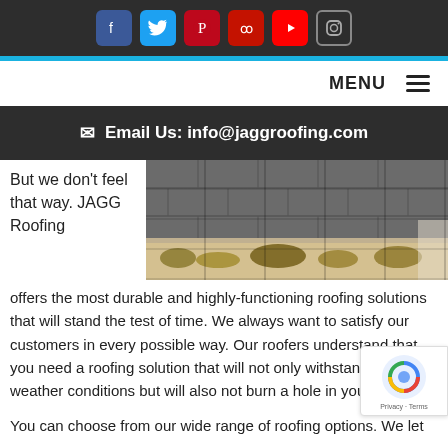[Figure (infographic): Social media icon bar with Facebook, Twitter, Pinterest, Yelp, YouTube, and Instagram icons on dark background]
[Figure (infographic): Blue horizontal stripe separator]
MENU ☰
✉ Email Us: info@jaggroofing.com
But we don't feel that way. JAGG Roofing
[Figure (photo): Photo of roof shingles with a gutter filled with leaves and debris]
offers the most durable and highly-functioning roofing solutions that will stand the test of time. We always want to satisfy our customers in every possible way. Our roofers understand that you need a roofing solution that will not only withstand extreme weather conditions but will also not burn a hole in your pocket.
You can choose from our wide range of roofing options. We let